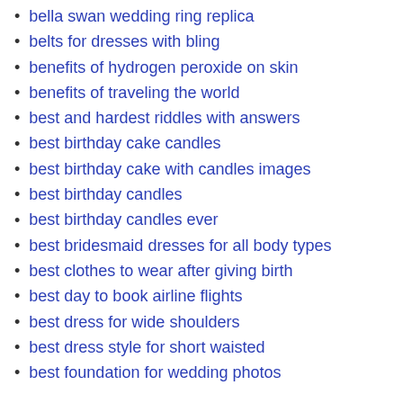bella swan wedding ring replica
belts for dresses with bling
benefits of hydrogen peroxide on skin
benefits of traveling the world
best and hardest riddles with answers
best birthday cake candles
best birthday cake with candles images
best birthday candles
best birthday candles ever
best bridesmaid dresses for all body types
best clothes to wear after giving birth
best day to book airline flights
best dress for wide shoulders
best dress style for short waisted
best foundation for wedding photos